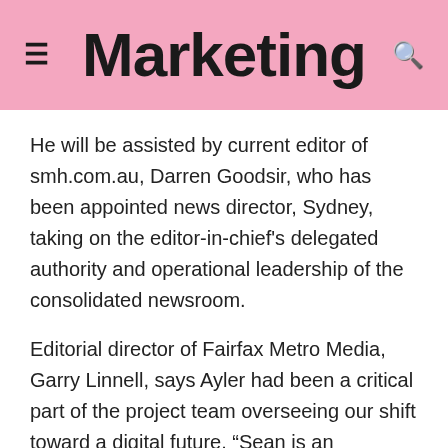Marketing
He will be assisted by current editor of smh.com.au, Darren Goodsir, who has been appointed news director, Sydney, taking on the editor-in-chief's delegated authority and operational leadership of the consolidated newsroom.
Editorial director of Fairfax Metro Media, Garry Linnell, says Ayler had been a critical part of the project team overseeing our shift toward a digital future. “Sean is an experienced writer and commentator who trained as an economist and worked for the Reserve Bank of Australia before